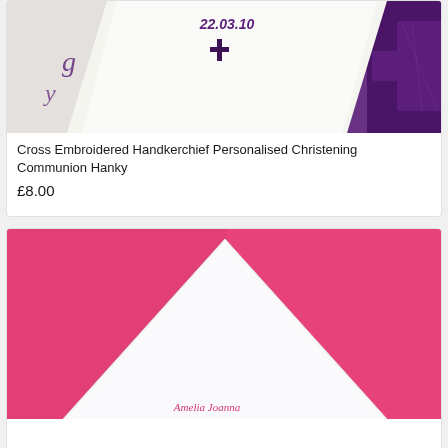[Figure (photo): Photo of a white handkerchief with purple cross embroidery and the date 22.03.10, with decorative purple script lettering and a purple textured fabric cross/border visible]
Cross Embroidered Handkerchief Personalised Christening Communion Hanky
£8.00
[Figure (photo): Photo of a white triangular/folded handkerchief on a bright pink/hot pink background, with pink cursive embroidery text visible at the bottom fold]